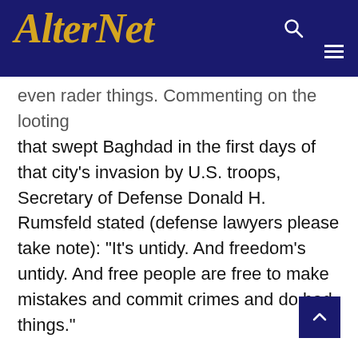AlterNet
even rader things. Commenting on the looting that swept Baghdad in the first days of that city's invasion by U.S. troops, Secretary of Defense Donald H. Rumsfeld stated (defense lawyers please take note): "It's untidy. And freedom's untidy. And free people are free to make mistakes and commit crimes and do bad things."
That's not, I suspect, what Rumsfeld was saying after the rioting that followed the Rodney King decision.